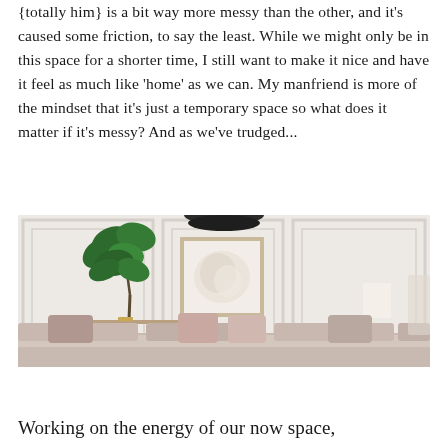{totally him} is a bit way more messy than the other, and it's caused some friction, to say the least. While we might only be in this space for a shorter time, I still want to make it nice and have it feel as much like 'home' as we can. My manfriend is more of the mindset that it's just a temporary space so what does it matter if it's messy? And as we've trudged...
[Figure (photo): A bright, elegant living room with white paneled walls, a large framed abstract white artwork, a green fiddle leaf fig tree, a pendant lamp, a pink upholstered sofa with cushions, and a lamp in the background.]
Working on the energy of our now space,